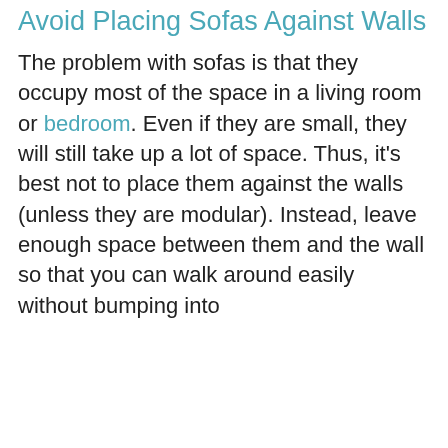Avoid Placing Sofas Against Walls
The problem with sofas is that they occupy most of the space in a living room or bedroom. Even if they are small, they will still take up a lot of space. Thus, it’s best not to place them against the walls (unless they are modular). Instead, leave enough space between them and the wall so that you can walk around easily without bumping into
Get instant access to our FREE resources
This website uses cookies to improve your browsing experience. GDPR
OK